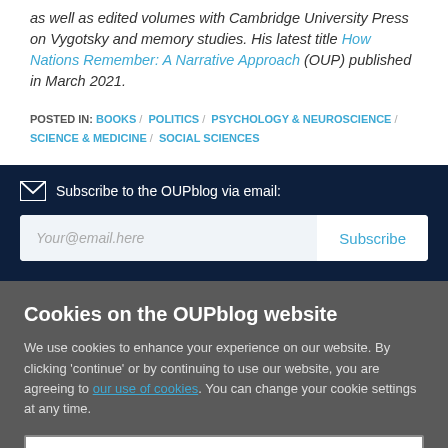as well as edited volumes with Cambridge University Press on Vygotsky and memory studies. His latest title How Nations Remember: A Narrative Approach (OUP) published in March 2021.
POSTED IN: BOOKS / POLITICS / PSYCHOLOGY & NEUROSCIENCE / SCIENCE & MEDICINE / SOCIAL SCIENCES
Subscribe to the OUPblog via email:
Your@email.here
Subscribe
Cookies on the OUPblog website
We use cookies to enhance your experience on our website. By clicking 'continue' or by continuing to use our website, you are agreeing to our use of cookies. You can change your cookie settings at any time.
Continue